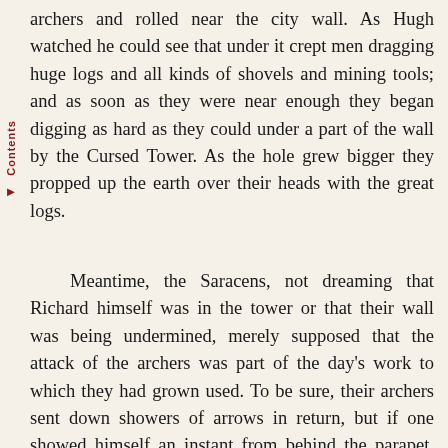archers and rolled near the city wall. As Hugh watched he could see that under it crept men dragging huge logs and all kinds of shovels and mining tools; and as soon as they were near enough they began digging as hard as they could under a part of the wall by the Cursed Tower. As the hole grew bigger they propped up the earth over their heads with the great logs.
Meantime, the Saracens, not dreaming that Richard himself was in the tower or that their wall was being undermined, merely supposed that the attack of the archers was part of the day's work to which they had grown used. To be sure, their archers sent down showers of arrows in return, but if one showed himself an instant from behind the parapet, down he tumbled, the mark of some English bowman. Presently, when one appeared on the wall wearing the armor of a knight whom he had killed the day before, Richard's eyes flashed, and seizing a cross-bow near his bed, he sent an arrow